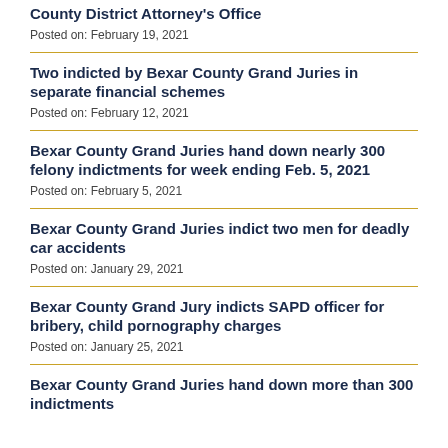County District Attorney's Office
Posted on: February 19, 2021
Two indicted by Bexar County Grand Juries in separate financial schemes
Posted on: February 12, 2021
Bexar County Grand Juries hand down nearly 300 felony indictments for week ending Feb. 5, 2021
Posted on: February 5, 2021
Bexar County Grand Juries indict two men for deadly car accidents
Posted on: January 29, 2021
Bexar County Grand Jury indicts SAPD officer for bribery, child pornography charges
Posted on: January 25, 2021
Bexar County Grand Juries hand down more than 300 indictments